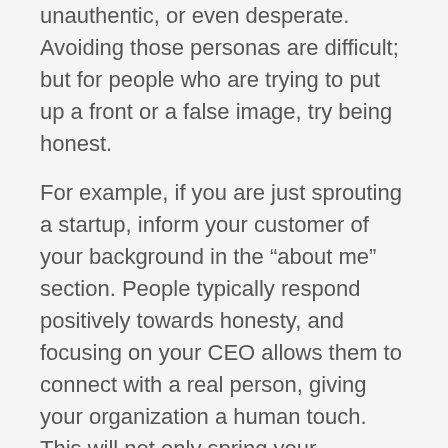unauthentic, or even desperate. Avoiding those personas are difficult; but for people who are trying to put up a front or a false image, try being honest.
For example, if you are just sprouting a startup, inform your customer of your background in the “about me” section. People typically respond positively towards honesty, and focusing on your CEO allows them to connect with a real person, giving your organization a human touch. This will not only spring your business into action by gaining financial and social support, but it will also lead towards more customers and a higher SEO ranking. Why do you think Kickstarter and other donation platforms perform well? The answer is simple: authenticity is vital to the pulse of your organization.
SEO for nonprofits is the starting point to ramp up your visibility. It enables your audience to find you easily and also build brand awareness because you’ll be showing up in the search rankings. Also, when it comes to SEO